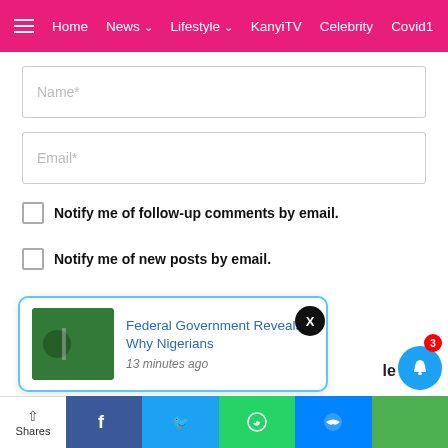Home  News  Lifestyle  KanyiTV  Celebrity  Covid1
Name*
Email*
Notify me of follow-up comments by email.
Notify me of new posts by email.
POST COMMENT
[Figure (screenshot): Notification popup card showing 'Federal Government Reveals Why Nigerians' article with thumbnail image and '13 minutes ago' timestamp]
Federal Government Reveals Why Nigerians
13 minutes ago
Shares  Facebook  Twitter  WhatsApp  Messenger  (Green icon)